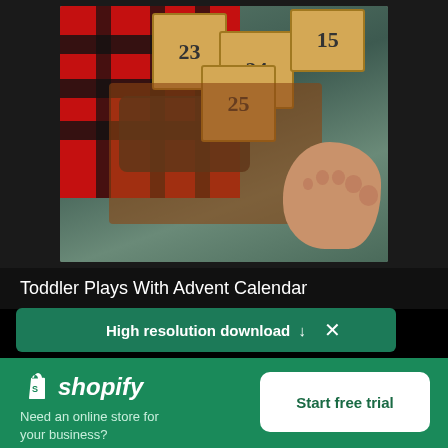[Figure (photo): Close-up photo of a toddler in red plaid pajamas playing with wooden advent calendar blocks on a carpet. Numbers 23, 24, 25, 15 visible on the blocks. Toddler's bare foot visible on the right side.]
Toddler Plays With Advent Calendar
High resolution download ↓
[Figure (logo): Shopify logo - shopping bag icon with letter S and italic text 'shopify']
Need an online store for your business?
Start free trial